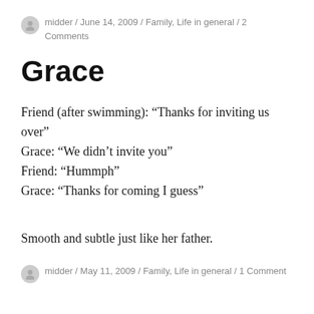midder / June 14, 2009 / Family, Life in general / 2 Comments
Grace
Friend (after swimming): “Thanks for inviting us over”
Grace: “We didn’t invite you”
Friend: “Hummph”
Grace: “Thanks for coming I guess”
Smooth and subtle just like her father.
midder / May 11, 2009 / Family, Life in general / 1 Comment